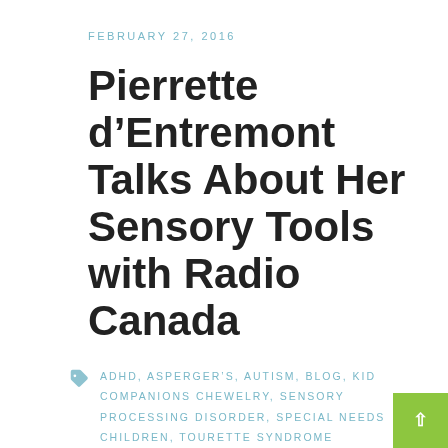FEBRUARY 27, 2016
Pierrette d’Entremont Talks About Her Sensory Tools with Radio Canada
ADHD, ASPERGER’S, AUTISM, BLOG, KID COMPANIONS CHEWELRY, SENSORY PROCESSING DISORDER, SPECIAL NEEDS CHILDREN, TOURETTE SYNDROME